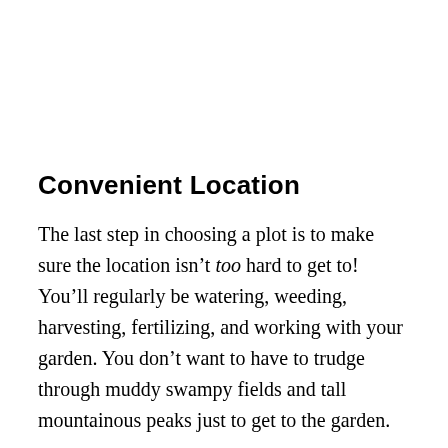Convenient Location
The last step in choosing a plot is to make sure the location isn’t too hard to get to! You’ll regularly be watering, weeding, harvesting, fertilizing, and working with your garden. You don’t want to have to trudge through muddy swampy fields and tall mountainous peaks just to get to the garden.